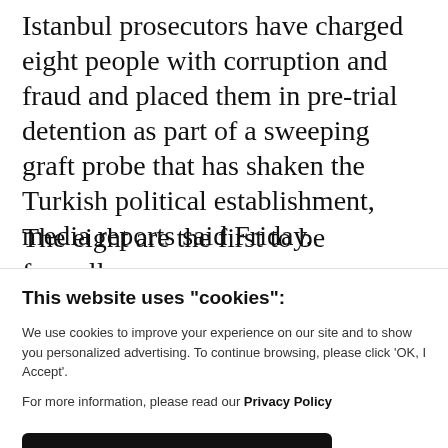Istanbul prosecutors have charged eight people with corruption and fraud and placed them in pre-trial detention as part of a sweeping graft probe that has shaken the Turkish political establishment, media reports said Friday.
The eight are the first to be formally
This website uses "cookies":
We use cookies to improve your experience on our site and to show you personalized advertising. To continue browsing, please click 'OK, I Accept'.
For more information, please read our Privacy Policy
Ok, I Accept